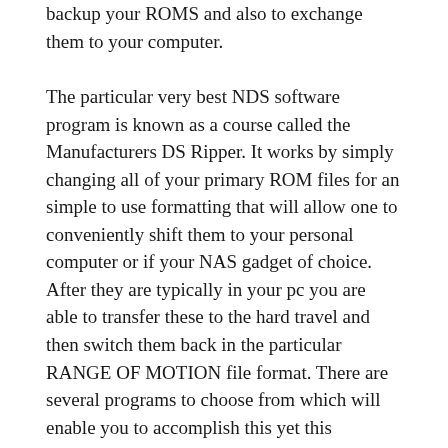backup your ROMS and also to exchange them to your computer.
The particular very best NDS software program is known as a course called the Manufacturers DS Ripper. It works by simply changing all of your primary ROM files for an simple to use formatting that will allow one to conveniently shift them to your personal computer or if your NAS gadget of choice. After they are typically in your pc you are able to transfer these to the hard travel and then switch them back in the particular RANGE OF MOTION file format. There are several programs to choose from which will enable you to accomplish this yet this exceptional camera is going to do the task faster together with help you save considerable time.
One and only thing you need to do to ensure you choose probably the most from the Manufacturers DS Ripper would be to provide an NDS and also a duplicate of your personal favourite DS ROM. Assuming you have an original